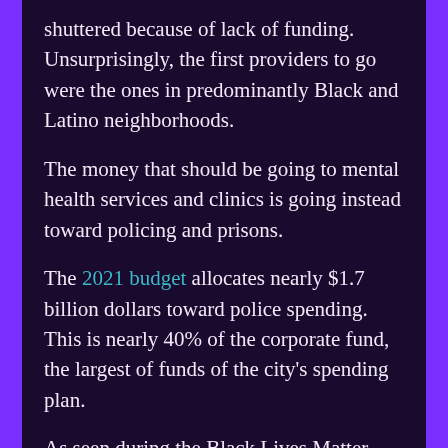shuttered because of lack of funding. Unsurprisingly, the first providers to go were the ones in predominantly Black and Latino neighborhoods.
The money that should be going to mental health services and clinics is going instead toward policing and prisons.
The 2021 budget allocates nearly $1.7 billion dollars toward police spending. This is nearly 40% of the corporate fund, the largest of funds of the city’s spending plan.
As seen during the Black Lives Matter Protests,